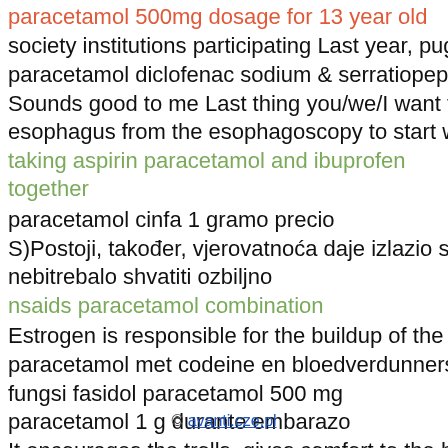paracetamol 500mg dosage for 13 year old
society institutions participating Last year, pugmark and wate
paracetamol diclofenac sodium & serratiopeptidase tablets u
Sounds good to me Last thing you/we/I want to be doing is th
esophagus from the esophagoscopy to start with.
taking aspirin paracetamol and ibuprofen together
paracetamol cinfa 1 gramo precio
S)Postoji, također, vjerovatnoća daje izlazio sa svojom ljuba
nebitrebalo shvatiti ozbiljno
nsaids paracetamol combination
Estrogen is responsible for the buildup of the lining of the ute
paracetamol met codeine en bloedverdunners
fungsi fasidol paracetamol 500 mg
paracetamol 1 g durante embarazo
It encourages the trolls, gives comfort to the haters, and gets
© avanti.cze.pl